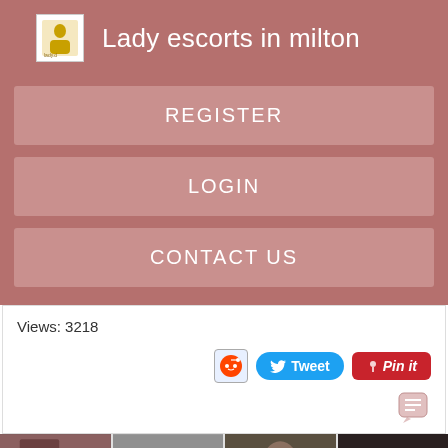Lady escorts in milton
REGISTER
LOGIN
CONTACT US
Views: 3218
[Figure (screenshot): Social sharing buttons: Reddit icon, Tweet button (Twitter), Pin it button (Pinterest)]
[Figure (photo): Four thumbnail images in a row at the bottom of the page]